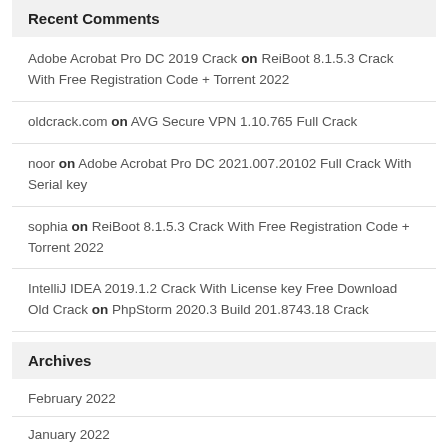Recent Comments
Adobe Acrobat Pro DC 2019 Crack on ReiBoot 8.1.5.3 Crack With Free Registration Code + Torrent 2022
oldcrack.com on AVG Secure VPN 1.10.765 Full Crack
noor on Adobe Acrobat Pro DC 2021.007.20102 Full Crack With Serial key
sophia on ReiBoot 8.1.5.3 Crack With Free Registration Code + Torrent 2022
IntelliJ IDEA 2019.1.2 Crack With License key Free Download Old Crack on PhpStorm 2020.3 Build 201.8743.18 Crack
Archives
February 2022
January 2022